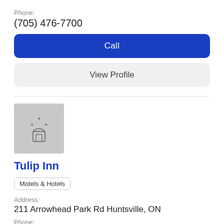Phone:
(705) 476-7700
Call
View Profile
[Figure (logo): Hotel/motel placeholder icon with stars on gray background]
Tulip Inn
Motels & Hotels
Address:
211 Arrowhead Park Rd Huntsville, ON
Phone:
(705) 789-4001
Call